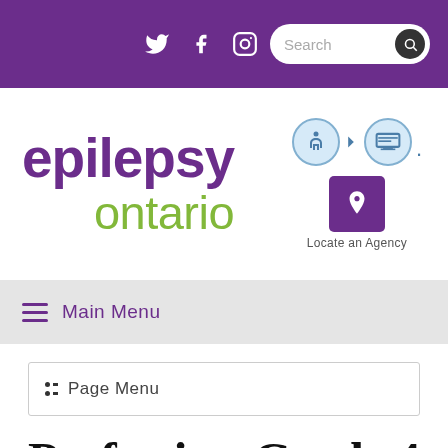[Figure (screenshot): Purple top banner with Twitter, Facebook, Instagram social icons and a Search box]
[Figure (logo): Epilepsy Ontario logo with purple 'epilepsy' and green 'ontario' text, accessibility icons, and Locate an Agency button]
[Figure (screenshot): Navigation bar with hamburger menu icon and 'Main Menu' label on grey background]
Page Menu
Perfection-Grade 4